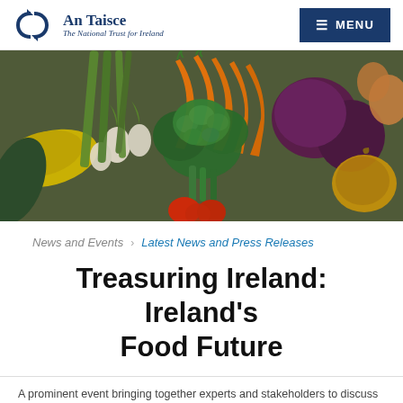An Taisce – The National Trust for Ireland | MENU
[Figure (photo): Overhead photo of assorted fresh vegetables including broccoli, carrots, beetroot, onions, turnips, tomatoes, courgette on a white surface]
News and Events > Latest News and Press Releases
Treasuring Ireland: Ireland's Food Future
A partial line of body text visible at the bottom of the page.